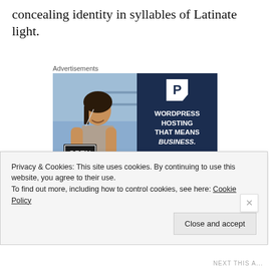concealing identity in syllables of Latinate light.
Advertisements
[Figure (photo): Advertisement for WordPress Hosting showing a smiling woman holding an OPEN sign, with dark navy panel on the right displaying 'WORDPRESS HOSTING THAT MEANS BUSINESS.' and a 'LEARN MORE' button with a stylized P logo.]
Privacy & Cookies: This site uses cookies. By continuing to use this website, you agree to their use.
To find out more, including how to control cookies, see here: Cookie Policy
Close and accept